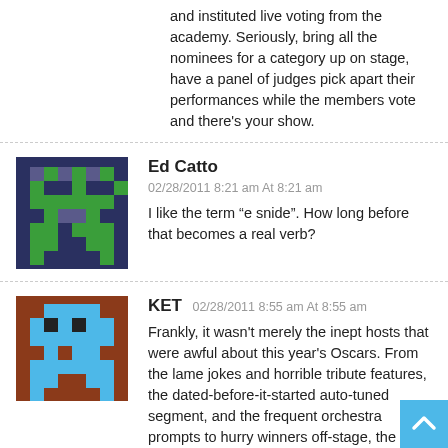and instituted live voting from the academy. Seriously, bring all the nominees for a category up on stage, have a panel of judges pick apart their performances while the members vote and there’s your show.
Ed Catto
02/28/2011 8:21 am At 8:21 am
I like the term “e snide”. How long before that becomes a real verb?
KET 02/28/2011 8:55 am At 8:55 am
Frankly, it wasn't merely the inept hosts that were awful about this year’s Oscars. From the lame jokes and horrible tribute features, the dated-before-it-started auto-tuned segment, and the frequent orchestra prompts to hurry winners off-stage, the show's production was an ongoing disaster right after the taped intro. Seemed me that Franco was embarrassed to be up there, so